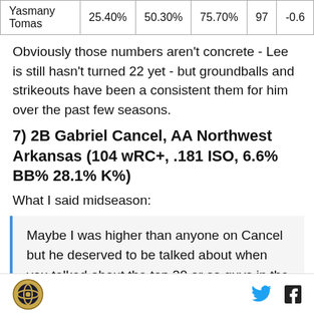| Yasmany Tomas | 25.40% | 50.30% | 75.70% | 97 | -0.6 |
Obviously those numbers aren't concrete - Lee is still hasn't turned 22 yet - but groundballs and strikeouts have been a consistent them for him over the past few seasons.
7) 2B Gabriel Cancel, AA Northwest Arkansas (104 wRC+, .181 ISO, 6.6% BB% 28.1% K%)
What I said midseason:
Maybe I was higher than anyone on Cancel but he deserved to be talked about when you talked about the top 20 or so guys in the entire organization. It
[logo] [twitter] [facebook]